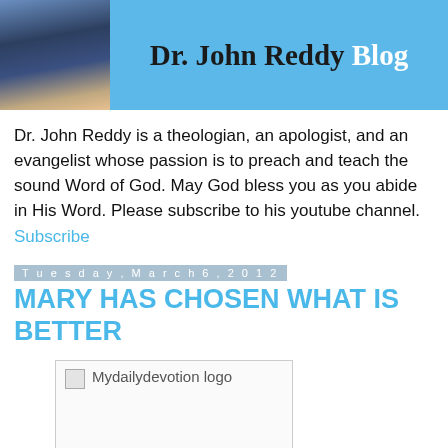Dr. John Reddy Blog
Dr. John Reddy is a theologian, an apologist, and an evangelist whose passion is to preach and teach the sound Word of God. May God bless you as you abide in His Word. Please subscribe to his youtube channel. Subscribe
Tuesday, March 6, 2012
MARY HAS CHOSEN WHAT IS BETTER
[Figure (logo): Mydailydevotion logo image placeholder — broken image icon with alt text 'Mydailydevotion logo']